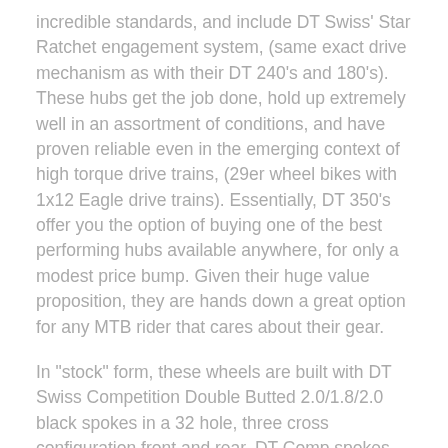incredible standards, and include DT Swiss' Star Ratchet engagement system, (same exact drive mechanism as with their DT 240's and 180's).  These hubs get the job done, hold up extremely well in an assortment of conditions, and have proven reliable even in the emerging context of high torque drive trains, (29er wheel bikes with 1x12 Eagle drive trains).  Essentially, DT 350's offer you the option of buying one of the best performing hubs available anywhere, for only a modest price bump.  Given their huge value proposition, they are hands down a great option for any MTB rider that cares about their gear.
In "stock" form, these wheels are built with DT Swiss Competition Double Butted 2.0/1.8/2.0 black spokes in a 32 hole, three cross configuration front and rear.  DT Comp spokes offer legendary quality and performance.  If you didn't know a thing about spokes, know that your wheels would come with a really top notch spoke product.  That being said, we're offering a spoke upgrade option, in the form of Sapim DLight 2.0/1.65/2.0 spokes.  There are two great spoke manufacturers in the world, DT Swiss and